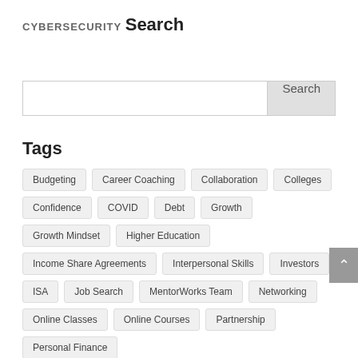CYBERSECURITY
Search
Search [input box with Search button]
Tags
Budgeting, Career Coaching, Collaboration, Colleges, Confidence, COVID, Debt, Growth, Growth Mindset, Higher Education, Income Share Agreements, Interpersonal Skills, Investors, ISA, Job Search, MentorWorks Team, Networking, Online Classes, Online Courses, Partnership, Personal Finance